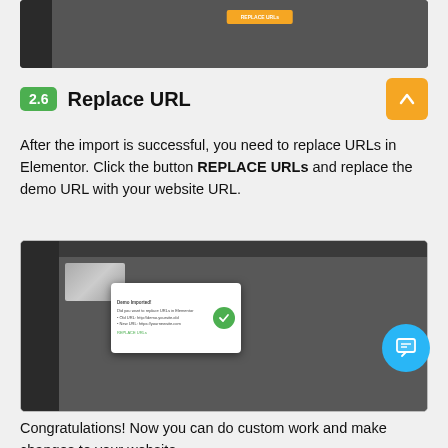[Figure (screenshot): Dark UI screenshot showing a dashboard with a sidebar and an orange button in the center top area]
2.6 Replace URL
After the import is successful, you need to replace URLs in Elementor. Click the button REPLACE URLs and replace the demo URL with your website URL.
[Figure (screenshot): Dark dashboard screenshot showing a dialog box with a green checkmark indicating success for replacing URLs in Elementor]
Congratulations! Now you can do custom work and make changes to your website.